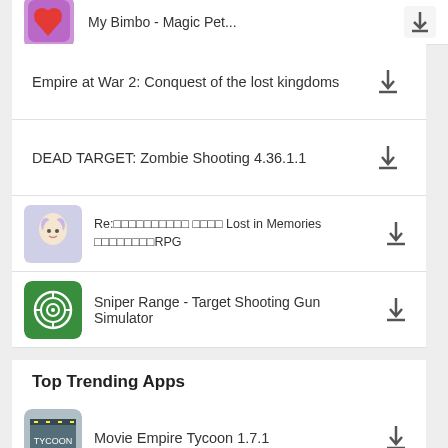My Bimbo - Magic Pet...
Empire at War 2: Conquest of the lost kingdoms
DEAD TARGET: Zombie Shooting 4.36.1.1
Re:ごもごもごもごもごもごも ごもご Lost in Memories　ごもごもごもごもRPG
Sniper Range - Target Shooting Gun Simulator
Top Trending Apps
Movie Empire Tycoon 1.7.1